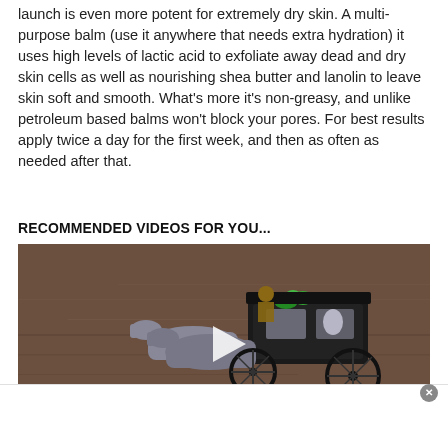launch is even more potent for extremely dry skin. A multi-purpose balm (use it anywhere that needs extra hydration) it uses high levels of lactic acid to exfoliate away dead and dry skin cells as well as nourishing shea butter and lanolin to leave skin soft and smooth. What’s more it’s non-greasy, and unlike petroleum based balms won’t block your pores. For best results apply twice a day for the first week, and then as often as needed after that.
RECOMMENDED VIDEOS FOR YOU...
[Figure (screenshot): Video thumbnail showing a horse-drawn carriage in a brown/earthy outdoor scene. A figure sits atop the carriage which is pulled by grey horses. Green decorations visible on the carriage. A play button overlay appears in the center. A small control bar is at the bottom left.]